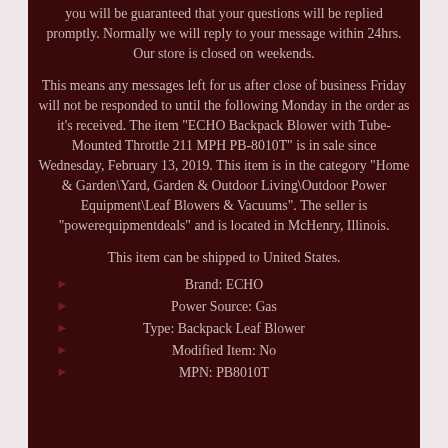you will be guaranteed that your questions will be replied promptly. Normally we will reply to your message within 24hrs. Our store is closed on weekends.
This means any messages left for us after close of business Friday will not be responded to until the following Monday in the order as it's received. The item "ECHO Backpack Blower with Tube-Mounted Throttle 211 MPH PB-8010T" is in sale since Wednesday, February 13, 2019. This item is in the category "Home & Garden\Yard, Garden & Outdoor Living\Outdoor Power Equipment\Leaf Blowers & Vacuums". The seller is "powerequipmentdeals" and is located in McHenry, Illinois.
This item can be shipped to United States.
Brand: ECHO
Power Source: Gas
Type: Backpack Leaf Blower
Modified Item: No
MPN: PB8010T